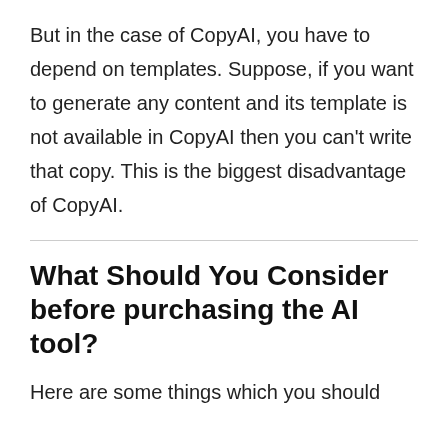But in the case of CopyAI, you have to depend on templates. Suppose, if you want to generate any content and its template is not available in CopyAI then you can't write that copy. This is the biggest disadvantage of CopyAI.
What Should You Consider before purchasing the AI tool?
Here are some things which you should